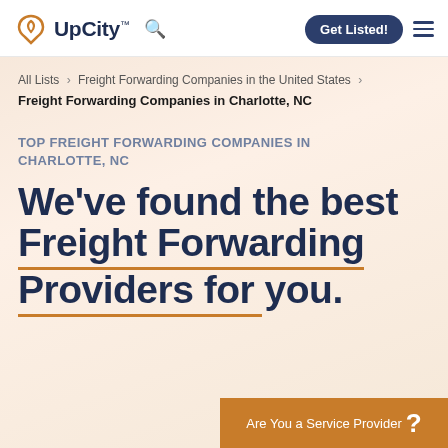UpCity™ [search] Get Listed! [menu]
All Lists > Freight Forwarding Companies in the United States > Freight Forwarding Companies in Charlotte, NC
TOP FREIGHT FORWARDING COMPANIES IN CHARLOTTE, NC
We've found the best Freight Forwarding Providers for you.
Are You a Service Provider ?